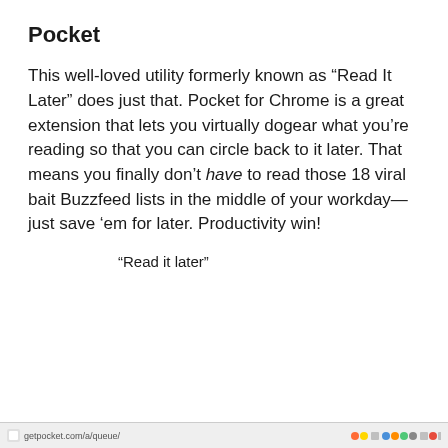Pocket
This well-loved utility formerly known as “Read It Later” does just that. Pocket for Chrome is a great extension that lets you virtually dogear what you’re reading so that you can circle back to it later. That means you finally don’t have to read those 18 viral bait Buzzfeed lists in the middle of your workday—just save ’em for later. Productivity win!
「「「「「「“Read it later”「「「「「「「「「「「「「「「「「「「「「「「「「「「「「「「「「「「「「「「「「「「「
getpocket.com/a/queue/